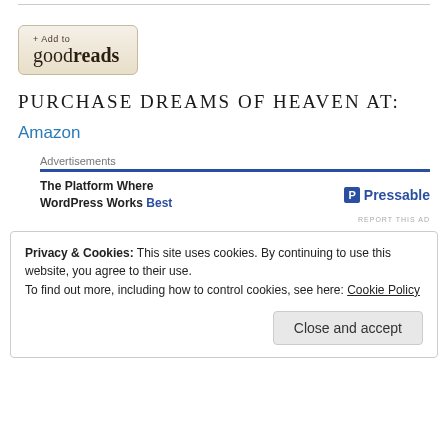[Figure (logo): Add to Goodreads button with beige/cream background]
PURCHASE DREAMS OF HEAVEN AT:
Amazon
Advertisements
[Figure (screenshot): Advertisement for Pressable: 'The Platform Where WordPress Works Best']
Privacy & Cookies: This site uses cookies. By continuing to use this website, you agree to their use. To find out more, including how to control cookies, see here: Cookie Policy
Close and accept